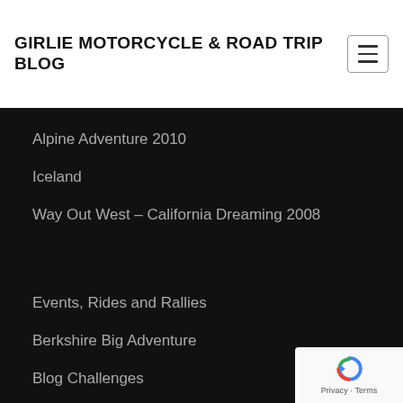GIRLIE MOTORCYCLE & ROAD TRIP BLOG
Alpine Adventure 2010
Iceland
Way Out West – California Dreaming 2008
Events, Rides and Rallies
Berkshire Big Adventure
Blog Challenges
Crotona Midnight Run